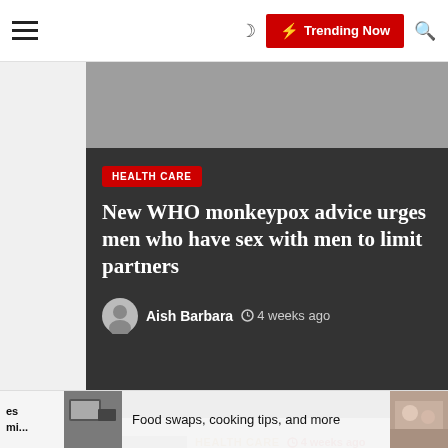≡  ☽  ⚡ Trending Now  🔍
HEALTH CARE
New WHO monkeypox advice urges men who have sex with men to limit partners
Aish Barbara  🕐 4 weeks ago
[Figure (photo): Person using tablet on kitchen counter]
HEALTH CARE  🕐 4 weeks ago
Food swaps, cooking tips, and more
[Figure (photo): Group of people outdoors, partially visible]
HEALTH CARE  🕐 4 weeks ago
es mi...  Food swaps, cooking tips, and more